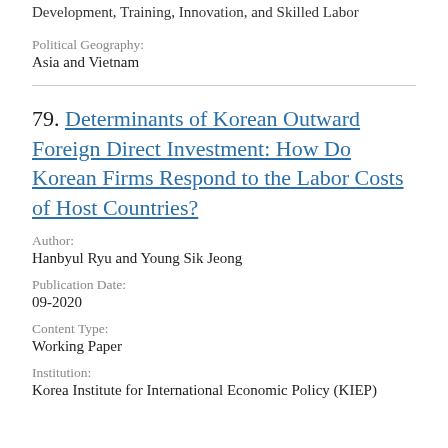Development, Training, Innovation, and Skilled Labor
Political Geography:
Asia and Vietnam
79. Determinants of Korean Outward Foreign Direct Investment: How Do Korean Firms Respond to the Labor Costs of Host Countries?
Author:
Hanbyul Ryu and Young Sik Jeong
Publication Date:
09-2020
Content Type:
Working Paper
Institution:
Korea Institute for International Economic Policy (KIEP)